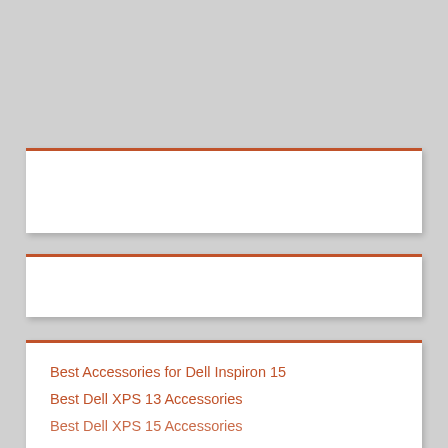[Figure (other): White card panel with orange-red top border, empty content area (card 1)]
[Figure (other): White card panel with orange-red top border, empty content area (card 2)]
Best Accessories for Dell Inspiron 15
Best Dell XPS 13 Accessories
Best Dell XPS 15 Accessories